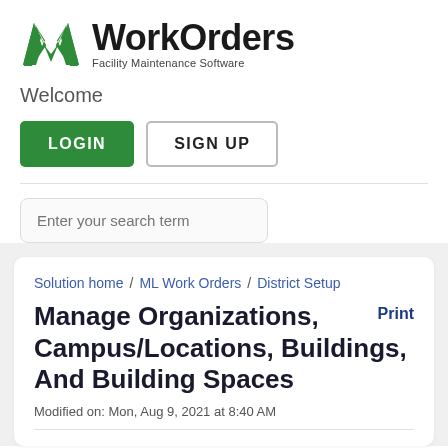[Figure (logo): WorkOrders Facility Maintenance Software logo with green M icon]
Welcome
LOGIN   SIGN UP
Enter your search term
Solution home / ML Work Orders / District Setup
Manage Organizations, Campus/Locations, Buildings, And Building Spaces
Modified on: Mon, Aug 9, 2021 at 8:40 AM